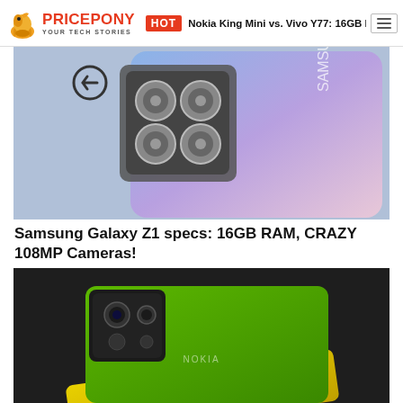PRICEPONY YOUR TECH STORIES | HOT | Nokia King Mini vs. Vivo Y77: 16GB RAM, 7300r
[Figure (photo): Samsung Galaxy Z1 smartphone concept render showing back with multiple camera fans/cooling system, blue/purple gradient body]
Samsung Galaxy Z1 specs: 16GB RAM, CRAZY 108MP Cameras!
[Figure (photo): Nokia X90 Pro smartphone render in green and gold/yellow color, showing Nokia branding on two stacked devices from rear angle]
Nokia X90 Pro 2022 full specs: 16GB RAM, 7900mAh Battery!